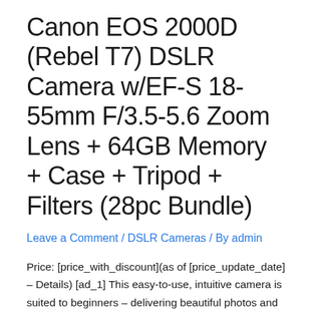Canon EOS 2000D (Rebel T7) DSLR Camera w/EF-S 18-55mm F/3.5-5.6 Zoom Lens + 64GB Memory + Case + Tripod + Filters (28pc Bundle)
Leave a Comment / DSLR Cameras / By admin
Price: [price_with_discount](as of [price_update_date] – Details) [ad_1] This easy-to-use, intuitive camera is suited to beginners – delivering beautiful photos and cinematic Full HD movies packed with detail, colour and depth, with great low light performance from a 24.1 Megapixel sensor. The live view shooting with on-screen previews are easy to understand with built-in guidance and …